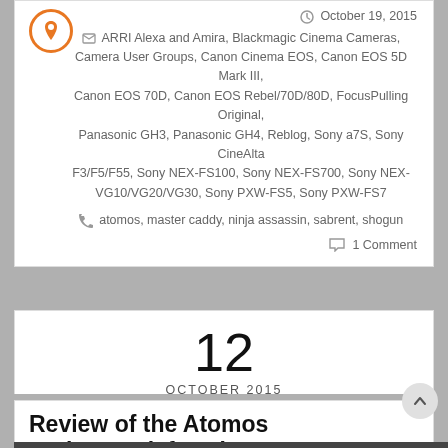October 19, 2015
ARRI Alexa and Amira, Blackmagic Cinema Cameras, Camera User Groups, Canon Cinema EOS, Canon EOS 5D Mark III, Canon EOS 70D, Canon EOS Rebel/70D/80D, FocusPulling Original, Panasonic GH3, Panasonic GH4, Reblog, Sony a7S, Sony CineAlta F3/F5/F55, Sony NEX-FS100, Sony NEX-FS700, Sony NEX-VG10/VG20/VG30, Sony PXW-FS5, Sony PXW-FS7
atomos, master caddy, ninja assassin, sabrent, shogun
1 Comment
12 OCTOBER 2015
Review of the Atomos Action Pack for Shogun
Written by Paul Moon